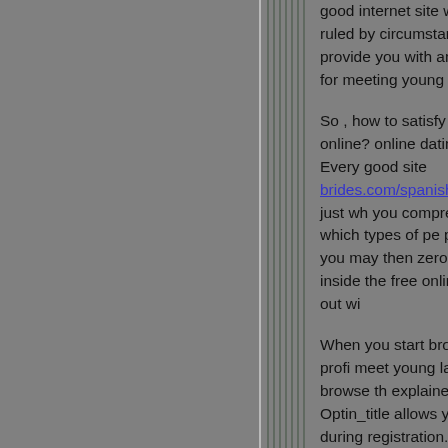good internet site will be ruled by circumstances provide you with an advise for meeting young ladies o...
So , how to satisfy a girl's online? online dating site. Every good site brides.com/spanish-brides just wh you comprehend which types of pe profiles, you may then zero in on inside the free online going out wi...
When you start browsing the profi meet young ladies is to browse th explained below. Optin_title allows you list during registration. When allow your info by striking the "Su...
After you have started out browsin allow you to send out messages a prefer. Should you be interested, y provide a smile to their face.